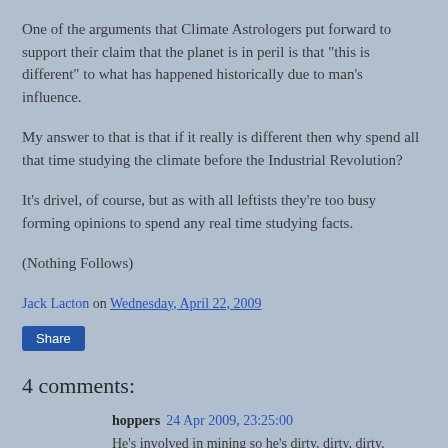One of the arguments that Climate Astrologers put forward to support their claim that the planet is in peril is that "this is different" to what has happened historically due to man's influence.
My answer to that is that if it really is different then why spend all that time studying the climate before the Industrial Revolution?
It's drivel, of course, but as with all leftists they're too busy forming opinions to spend any real time studying facts.
(Nothing Follows)
Jack Lacton on Wednesday, April 22, 2009
Share
4 comments:
hoppers  24 Apr 2009, 23:25:00
He's involved in mining so he's dirty, dirty, dirty.